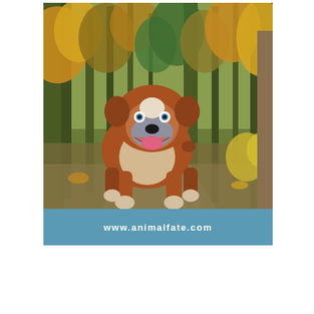[Figure (illustration): A cartoon/illustrated English Bulldog standing on a forest path with autumn-colored trees in the background. The bulldog is brown and white with a happy expression, tongue out, blue eyes, and wrinkled face. The background is a real photograph of a wooded trail with yellow and green foliage.]
www.animalfate.com